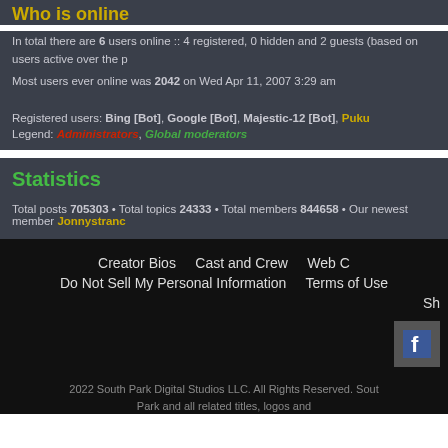Who is online
In total there are 6 users online :: 4 registered, 0 hidden and 2 guests (based on users active over the past). Most users ever online was 2042 on Wed Apr 11, 2007 3:29 am
Registered users: Bing [Bot], Google [Bot], Majestic-12 [Bot], Puku
Legend: Administrators, Global moderators
Statistics
Total posts 705303 • Total topics 24333 • Total members 844658 • Our newest member Jonnystranc...
Creator Bios   Cast and Crew   Web C...   Do Not Sell My Personal Information   Terms of Use   Sh...   2022 South Park Digital Studios LLC. All Rights Reserved. South Park and all related titles, logos and...